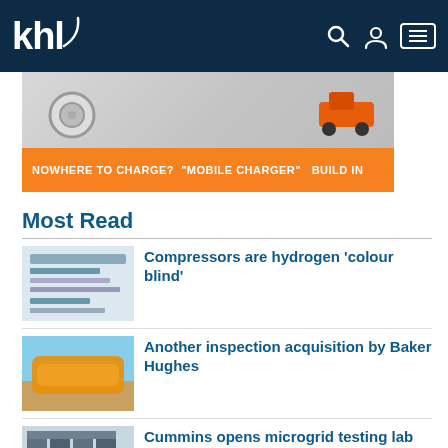khl
[Figure (photo): Advertisement banner showing electric vehicle charger with orange bar reading: NOWHERE TO CHARGE? "MOBILE CHARGER" BUILD IN]
Most Read
[Figure (photo): Thumbnail of compressors article - shows document text about hydrogen compressors]
Compressors are hydrogen 'colour blind'
[Figure (photo): Thumbnail showing yellow/orange pipeline in desert landscape with blue sky]
Another inspection acquisition by Baker Hughes
[Figure (photo): Thumbnail showing industrial microgrid electrical panel equipment]
Cummins opens microgrid testing lab
[Figure (photo): Thumbnail showing red crane attachments against sky]
Utilizing crane attachments in